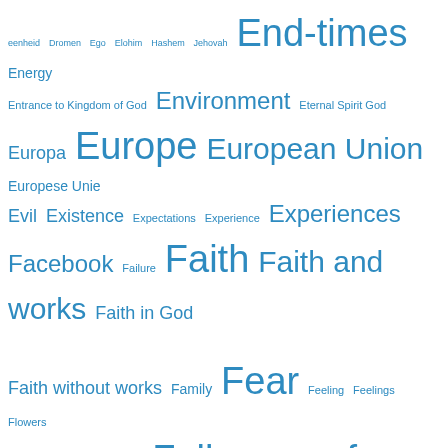[Figure (infographic): A tag cloud / word cloud of religious, philosophical, and geopolitical topics rendered in varying font sizes in blue on white background. Terms include End-times, Europe, European Union, Faith, Fear, Followers of Christ, France, Freedom, Germany, God, God's Word, and many others.]